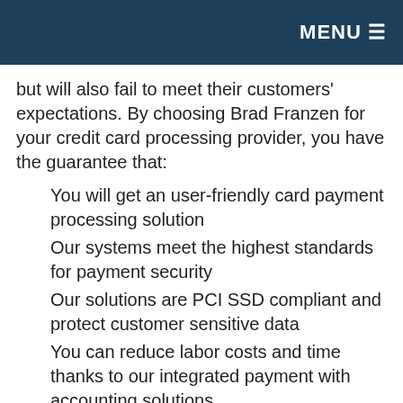MENU ☰
but will also fail to meet their customers' expectations. By choosing Brad Franzen for your credit card processing provider, you have the guarantee that:
You will get an user-friendly card payment processing solution
Our systems meet the highest standards for payment security
Our solutions are PCI SSD compliant and protect customer sensitive data
You can reduce labor costs and time thanks to our integrated payment with accounting solutions
You will have a simple and efficient tool to help you with business resource planning